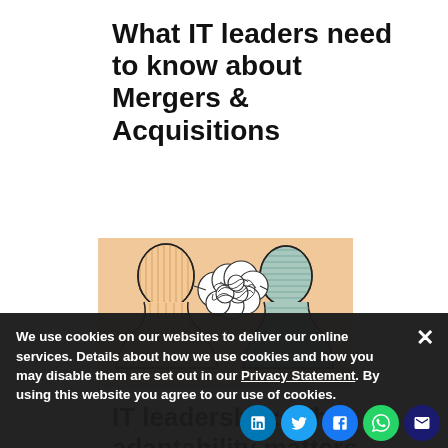What IT leaders need to know about Mergers & Acquisitions
[Figure (illustration): Illustration of two human silhouettes facing each other with a tangled scribble cloud between their heads, suggesting complex communication or thought, against a peach/tan background]
IT leadership: Why adaptability matters
We use cookies on our websites to deliver our online services. Details about how we use cookies and how you may disable them are set out in our Privacy Statement. By using this website you agree to our use of cookies.